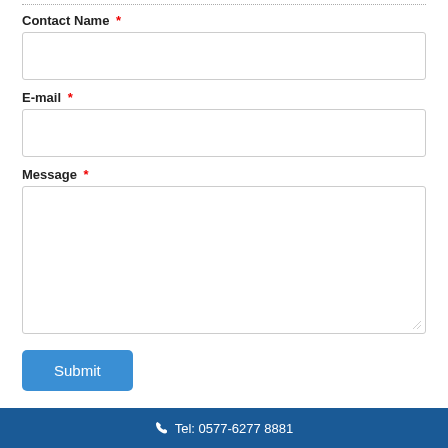Contact Name *
E-mail *
Message *
Submit
Tel: 0577-6277 8881